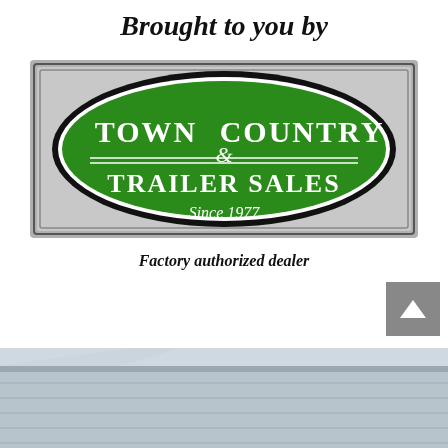Brought to you by
[Figure (logo): Town & Country Trailer Sales logo: green oval on grey rectangle with white text reading TOWN & COUNTRY TRAILER SALES Since 1977]
Factory authorized dealer
[Figure (photo): Partial photo of a trailer or building roof, metallic grey tones, bottom portion of page]